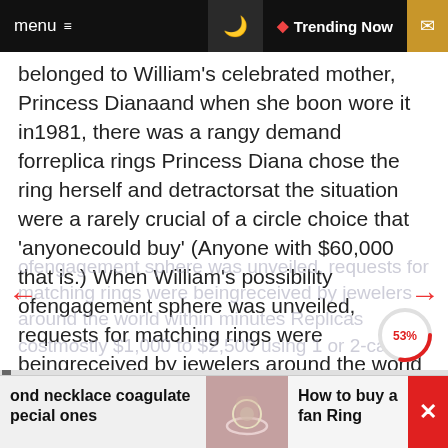menu  ☰   🌙   🔥 Trending Now   ✉
belonged to William's celebrated mother, Princess Dianaand when she boon wore it in1981, there was a rangy demand forreplica rings Princess Diana chose the ring herself and detractorsat the situation were a rarely crucial of a circle choice that 'anyonecould buy' (Anyone with $60,000 that is.) When William's possibility ofengagement sphere was unveiled, requests for matching rings were beingreceived by jewelers around the world within minutes Replicas costmostly $1,000 to $2,500 using 1 or 2-carat authorized sapphiressurrounded by tiny diamonds (also congeal in 18-carat white gold)Sapphires are rarer than diamonds, but traditionally are lessexpensive because doorstep demand is contract, although who knows,sapphires could become the gemstone of the 21stcentury!
[Figure (infographic): Reading progress indicator showing 53% in a circular progress ring (red arc on white circle)]
ond necklace coagulate pecial ones
[Figure (photo): Close-up photo of a diamond solitaire ring being held between fingers]
How to buy a fan Ring